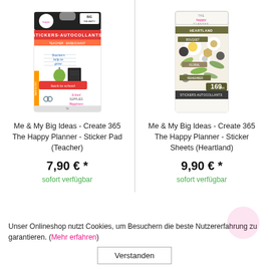[Figure (photo): Product photo of Me & My Big Ideas Happy Planner Sticker Pad (Teacher) packaging]
Me & My Big Ideas - Create 365 The Happy Planner - Sticker Pad (Teacher)
7,90 € *
sofort verfügbar
[Figure (photo): Product photo of Me & My Big Ideas Happy Planner Sticker Sheets (Heartland) packaging]
Me & My Big Ideas - Create 365 The Happy Planner - Sticker Sheets (Heartland)
9,90 € *
sofort verfügbar
Unser Onlineshop nutzt Cookies, um Besuchern die beste Nutzererfahrung zu garantieren. (Mehr erfahren)
Verstanden